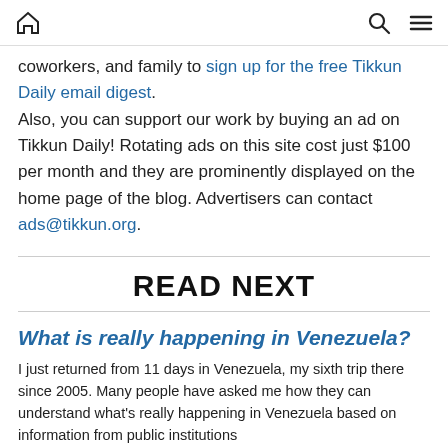[home icon] [search icon] [menu icon]
coworkers, and family to sign up for the free Tikkun Daily email digest. Also, you can support our work by buying an ad on Tikkun Daily! Rotating ads on this site cost just $100 per month and they are prominently displayed on the home page of the blog. Advertisers can contact ads@tikkun.org.
READ NEXT
What is really happening in Venezuela?
I just returned from 11 days in Venezuela, my sixth trip there since 2005. Many people have asked me how they can understand what's really happening in Venezuela based on information from public institutions